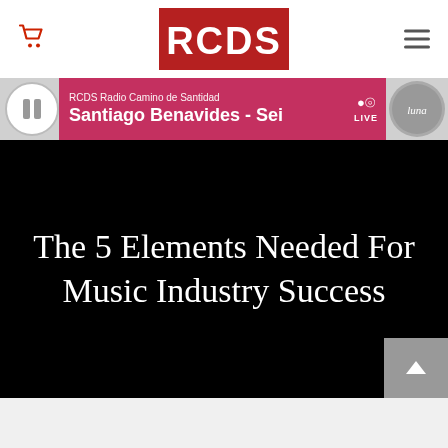RCDS logo, cart icon, hamburger menu
RCDS Radio Camino de Santidad — Santiago Benavides - Sei [LIVE]
The 5 Elements Needed For Music Industry Success